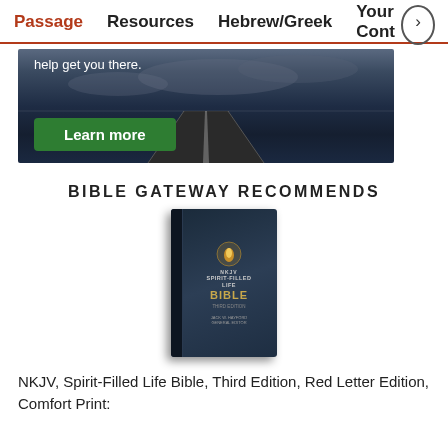Passage  Resources  Hebrew/Greek  Your Cont
[Figure (photo): Advertisement banner showing a road stretching to the horizon under a cloudy sky, with text 'help get you there.' and a green 'Learn more' button]
BIBLE GATEWAY RECOMMENDS
[Figure (photo): Book cover of NKJV Spirit-Filled Life Bible, Third Edition - dark blue cover with gold text and a flame/dove icon]
NKJV, Spirit-Filled Life Bible, Third Edition, Red Letter Edition, Comfort Print: